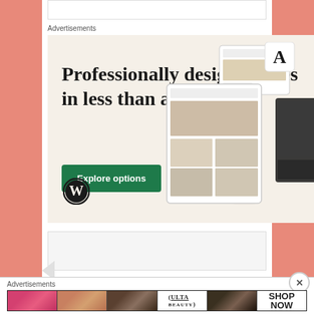Advertisements
[Figure (illustration): WordPress advertisement: 'Professionally designed sites in less than a week' with green 'Explore options' button, WordPress logo, and website screenshot mockups on right side]
[Figure (screenshot): Partial content area placeholder at bottom]
Advertisements
[Figure (illustration): Ulta Beauty banner advertisement with lipstick, makeup brush, eye makeup, Ulta logo, and 'SHOP NOW' call to action]